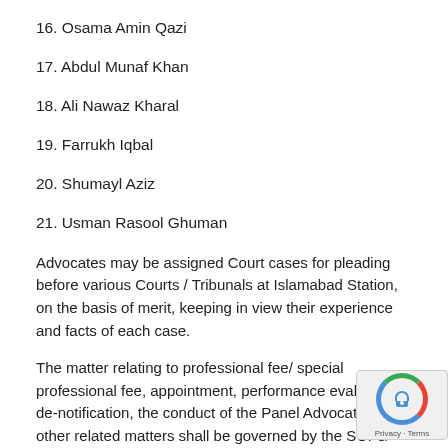16. Osama Amin Qazi
17. Abdul Munaf Khan
18. Ali Nawaz Kharal
19. Farrukh Iqbal
20. Shumayl Aziz
21. Usman Rasool Ghuman
Advocates may be assigned Court cases for pleading before various Courts / Tribunals at Islamabad Station, on the basis of merit, keeping in view their experience and facts of each case.
The matter relating to professional fee/ special professional fee, appointment, performance evaluation, de-notification, the conduct of the Panel Advocates and other related matters shall be governed by the SOPs/ policy guidelines circulated vide FBR's letter No. 176432 dated 12.10.2020, No. 129965-R dated